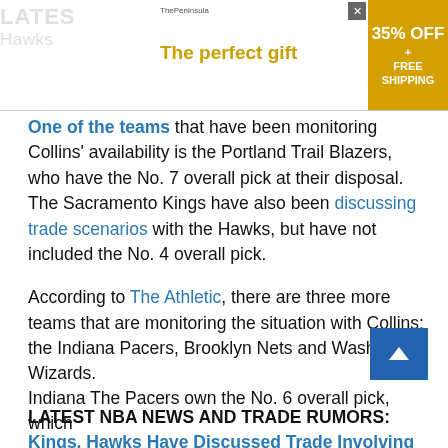[Figure (other): Advertisement banner: 'The perfect gift' with The Peninsula logo, decorative bowl image, left/right navigation arrows, and a yellow section showing '35% OFF + FREE SHIPPING'. A close button (x) appears at top right.]
One of the teams that have been monitoring Collins' availability is the Portland Trail Blazers, who have the No. 7 overall pick at their disposal. The Sacramento Kings have also been discussing trade scenarios with the Hawks, but have not included the No. 4 overall pick.
According to The Athletic, there are three more teams that are monitoring the situation with Collins; the Indiana Pacers, Brooklyn Nets and Washington Wizards.
LATEST NBA NEWS AND TRADE RUMORS: Kings, Hawks Have Discussed Trade Involving John Co...
Indiana The Pacers own the No. 6 overall pick, which